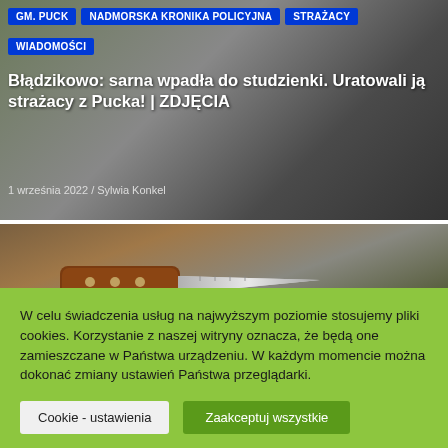[Figure (screenshot): News article header image with photo collage background showing an animal in a drain and other outdoor scenes]
GM. PUCK   NADMORSKA KRONIKA POLICYJNA   STRAŻACY   WIADOMOŚCI
Błądzikowo: sarna wpadła do studzienki. Uratowali ją strażacy z Pucka! | ZDJĘCIA
1 września 2022 / Sylwia Konkel
[Figure (photo): Close-up photo of a knife with wooden handle on a stone surface]
W celu świadczenia usług na najwyższym poziomie stosujemy pliki cookies. Korzystanie z naszej witryny oznacza, że będą one zamieszczane w Państwa urządzeniu. W każdym momencie można dokonać zmiany ustawień Państwa przeglądarki.
Cookie - ustawienia
Zaakceptuj wszystkie